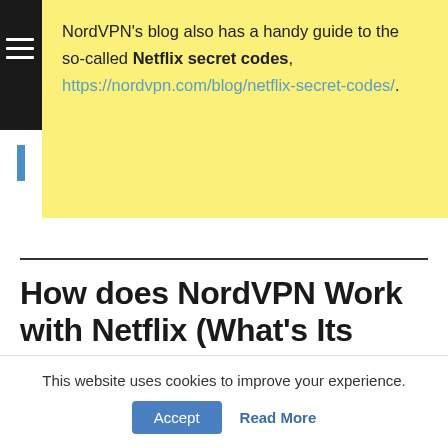NordVPN's blog also has a handy guide to the so-called Netflix secret codes, https://nordvpn.com/blog/netflix-secret-codes/.
How does NordVPN Work with Netflix (What's Its Secret)?
This website uses cookies to improve your experience.